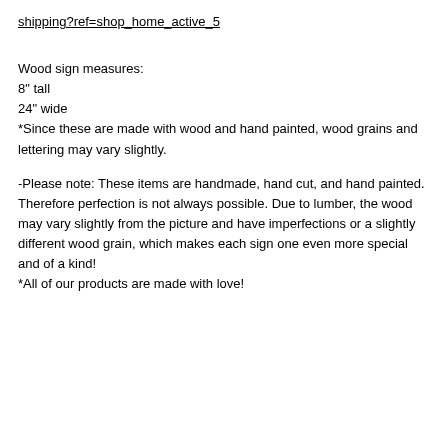shipping?ref=shop_home_active_5
Wood sign measures:
8" tall
24" wide
*Since these are made with wood and hand painted, wood grains and lettering may vary slightly.
-Please note: These items are handmade, hand cut, and hand painted. Therefore perfection is not always possible. Due to lumber, the wood may vary slightly from the picture and have imperfections or a slightly different wood grain, which makes each sign one even more special and of a kind!
*All of our products are made with love!